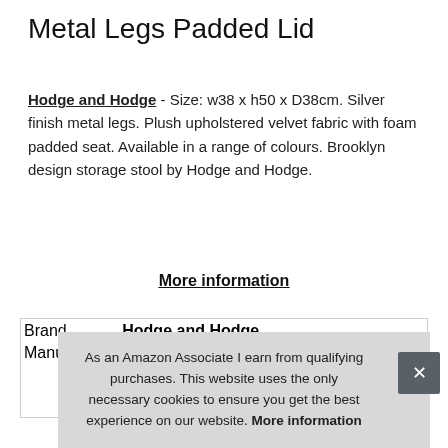Metal Legs Padded Lid
Hodge and Hodge - Size: w38 x h50 x D38cm. Silver finish metal legs. Plush upholstered velvet fabric with foam padded seat. Available in a range of colours. Brooklyn design storage stool by Hodge and Hodge.
More information
| Brand | Hodge and Hodge |
| --- | --- |
| Manufacturer | XS-Stock.com Ltd |
|  |  |
|  |  |
|  |  |
As an Amazon Associate I earn from qualifying purchases. This website uses the only necessary cookies to ensure you get the best experience on our website. More information